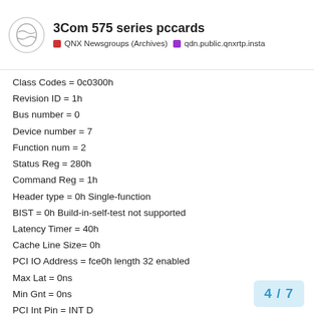3Com 575 series pccards — QNX Newsgroups (Archives) — qdn.public.qnxrtp.insta
Class Codes = 0c0300h
Revision ID = 1h
Bus number = 0
Device number = 7
Function num = 2
Status Reg = 280h
Command Reg = 1h
Header type = 0h Single-function
BIST = 0h Build-in-self-test not supported
Latency Timer = 40h
Cache Line Size= 0h
PCI IO Address = fce0h length 32 enabled
Max Lat = 0ns
Min Gnt = 0ns
PCI Int Pin = INT D
Interrupt line = 11

Class = Bridge (Unknown)
Vendor ID = 8086h, Intel Corporation
Device ID = 7A40h, 06F5A1B/TR-PIII